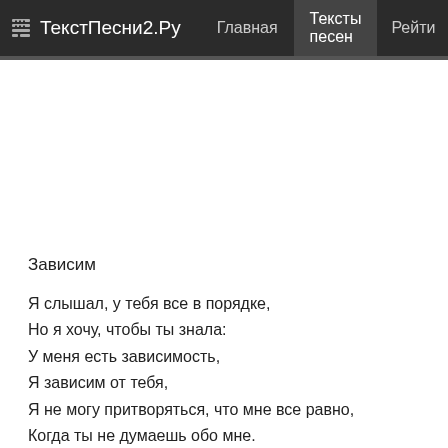ТекстПесни2.Ру   Главная   Тексты песен   Рейти
Зависим
Я слышал, у тебя все в порядке,
Но я хочу, чтобы ты знала:
У меня есть зависимость,
Я зависим от тебя,
Я не могу притворяться, что мне все равно,
Когда ты не думаешь обо мне.
Ты думаешь, я этого заслуживаю?